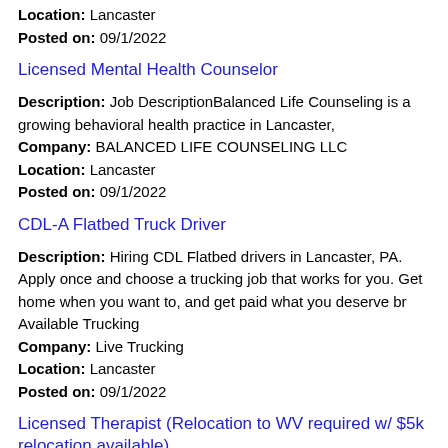Location: Lancaster
Posted on: 09/1/2022
Licensed Mental Health Counselor
Description: Job DescriptionBalanced Life Counseling is a growing behavioral health practice in Lancaster,
Company: BALANCED LIFE COUNSELING LLC
Location: Lancaster
Posted on: 09/1/2022
CDL-A Flatbed Truck Driver
Description: Hiring CDL Flatbed drivers in Lancaster, PA. Apply once and choose a trucking job that works for you. Get home when you want to, and get paid what you deserve br Available Trucking
Company: Live Trucking
Location: Lancaster
Posted on: 09/1/2022
Licensed Therapist (Relocation to WV required w/ $5k relocation available)
Description: Greenbrier Academy for Girls , a year-round therapeutic boarding school, located in historical Pence Springs, WV, has an opening for an energetic creative Licensed